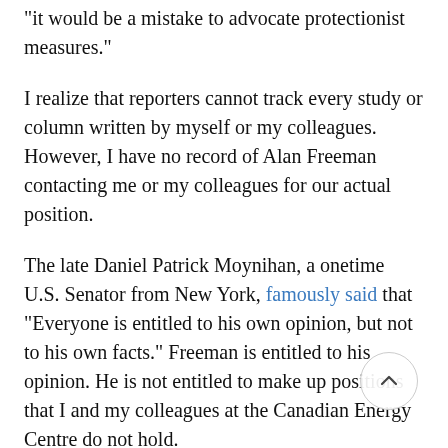“it would be a mistake to advocate protectionist measures.”
I realize that reporters cannot track every study or column written by myself or my colleagues. However, I have no record of Alan Freeman contacting me or my colleagues for our actual position.
The late Daniel Patrick Moynihan, a onetime U.S. Senator from New York, famously said that “Everyone is entitled to his own opinion, but not to his own facts.” Freeman is entitled to his opinion. He is not entitled to make up positions that I and my colleagues at the Canadian Energy Centre do not hold.